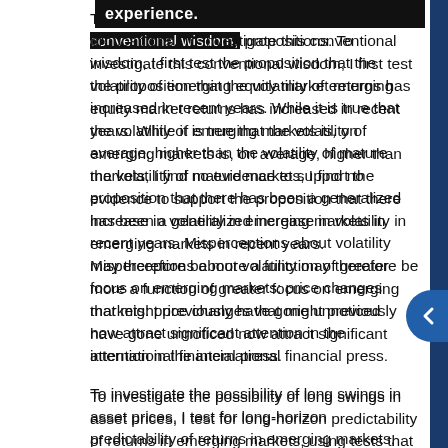This [text continues from previous page] propositions. To investigate this conventional wisdom, I first test the proposition that the volatility of emerging equity market returns has increased in recent years. While it is true that the volatility of emerging markets is, on average, higher than the volatility of mature markets, I find no evidence to support the proposition that there has been a generalized increase in volatility in emerging markets in recent years. Misperceptions about volatility may therefore be more a function of greater focus on emerging markets: price changes that might previously have gone unnoticed now attract significant attention in the international financial press.
To investigate the possibility of long swings in asset prices, I test for long-horizon predictability of returns in emerging markets, using tests that have so far been applied only to data for mature markets. Of course, a study of long-horizon return predictability in emerging markets is hampered by the relatively short time series available, not to mention the differences in the degree of openness in the various markets and the significant